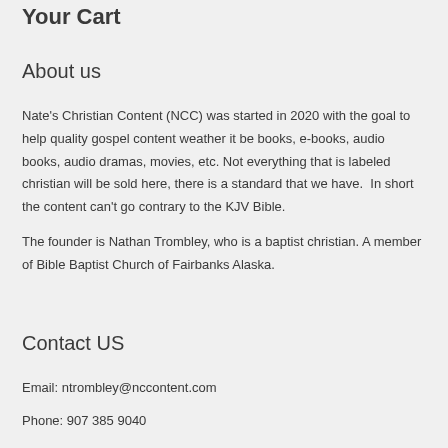Your Cart
About us
Nate's Christian Content (NCC) was started in 2020 with the goal to help quality gospel content weather it be books, e-books, audio books, audio dramas, movies, etc. Not everything that is labeled christian will be sold here, there is a standard that we have.  In short the content can't go contrary to the KJV Bible.
The founder is Nathan Trombley, who is a baptist christian. A member of Bible Baptist Church of Fairbanks Alaska.
Contact US
Email: ntrombley@nccontent.com
Phone: 907 385 9040